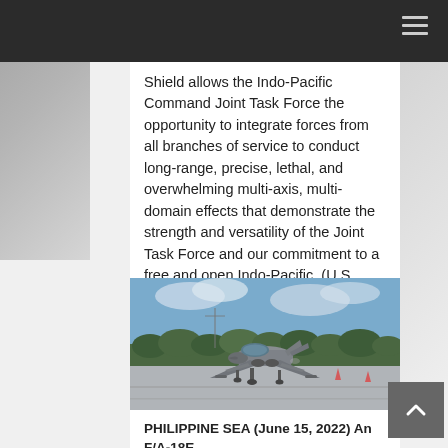Shield allows the Indo-Pacific Command Joint Task Force the opportunity to integrate forces from all branches of service to conduct long-range, precise, lethal, and overwhelming multi-axis, multi-domain effects that demonstrate the strength and versatility of the Joint Task Force and our commitment to a free and open Indo-Pacific. (U.S. Marine Corps photos by Cpl. Tyler Harmon)
[Figure (photo): An F/A-18E fighter jet on a runway tarmac, front-facing, with green trees and cloudy sky in background. The aircraft is gray with landing gear down.]
PHILIPPINE SEA (June 15, 2022) An F/A-18E